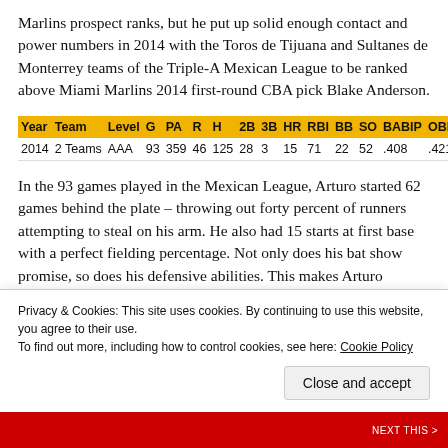Marlins prospect ranks, but he put up solid enough contact and power numbers in 2014 with the Toros de Tijuana and Sultanes de Monterrey teams of the Triple-A Mexican League to be ranked above Miami Marlins 2014 first-round CBA pick Blake Anderson.
| Year | Team | Level | G | PA | R | H | 2B | 3B | HR | RBI | BB | SO | BABIP | OBP | SLG |
| --- | --- | --- | --- | --- | --- | --- | --- | --- | --- | --- | --- | --- | --- | --- | --- |
| 2014 | 2 Teams | AAA | 93 | 359 | 46 | 125 | 28 | 3 | 15 | 71 | 22 | 52 | .408 | .421 | .618 |
In the 93 games played in the Mexican League, Arturo started 62 games behind the plate – throwing out forty percent of runners attempting to steal on his arm. He also had 15 starts at first base with a perfect fielding percentage. Not only does his bat show promise, so does his defensive abilities. This makes Arturo Rodriguez a strong candidate to watch in the
Privacy & Cookies: This site uses cookies. By continuing to use this website, you agree to their use.
To find out more, including how to control cookies, see here: Cookie Policy
Close and accept